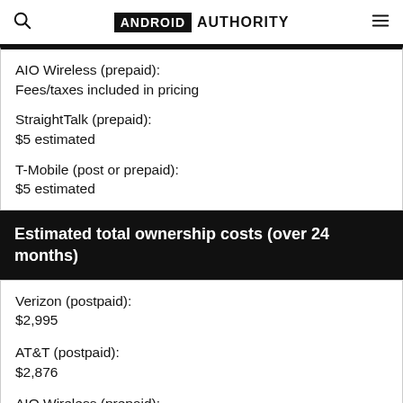ANDROID AUTHORITY
AIO Wireless (prepaid):
Fees/taxes included in pricing
StraightTalk (prepaid):
$5 estimated
T-Mobile (post or prepaid):
$5 estimated
Estimated total ownership costs (over 24 months)
Verizon (postpaid):
$2,995
AT&T (postpaid):
$2,876
AIO Wireless (prepaid):